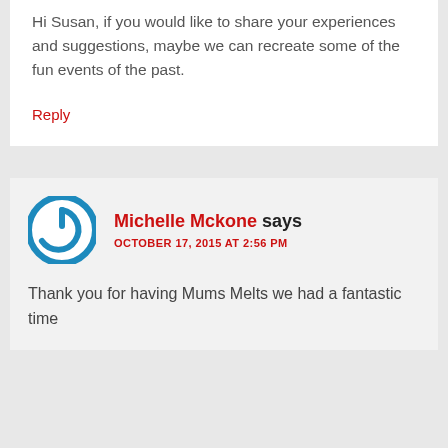Hi Susan, if you would like to share your experiences and suggestions, maybe we can recreate some of the fun events of the past.
Reply
Michelle Mckone says
OCTOBER 17, 2015 AT 2:56 PM
Thank you for having Mums Melts we had a fantastic time